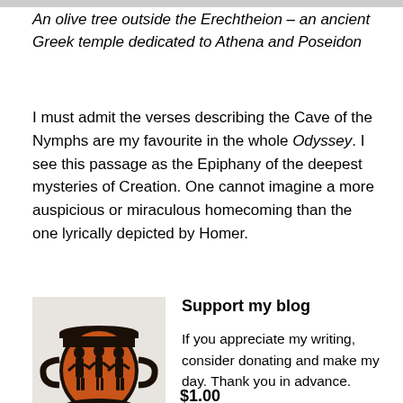[Figure (photo): Top strip showing partial view of an image at the top of the page]
An olive tree outside the Erechtheion – an ancient Greek temple dedicated to Athena and Poseidon
I must admit the verses describing the Cave of the Nymphs are my favourite in the whole Odyssey. I see this passage as the Epiphany of the deepest mysteries of Creation. One cannot imagine a more auspicious or miraculous homecoming than the one lyrically depicted by Homer.
[Figure (photo): Ancient Greek red-figure krater (vase) with figures depicted in black on orange-red background, displayed on a white pedestal]
Support my blog

If you appreciate my writing, consider donating and make my day. Thank you in advance.
$1.00